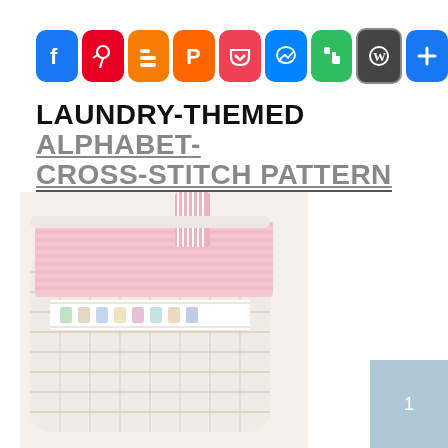[Figure (other): Row of social media sharing icons: Facebook (blue), Pinterest (red), Blogger (orange), Plurk (orange), Pocket (red/purple), Messenger (blue), Evernote (green), WordPress (dark), More/Plus (blue)]
LAUNDRY-THEMED ALPHABET-CROSS-STITCH PATTERN
[Figure (photo): Photo of a white wicker laundry basket with a pink gingham fabric liner. The liner has a white cross-stitch band featuring animal alphabet characters in a row. Pink and white striped cloth visible at the top.]
1